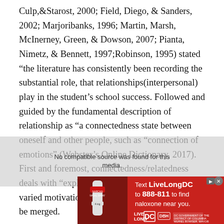Culp,&Starost, 2000; Field, Diego, & Sanders, 2002; Marjoribanks, 1996; Martin, Marsh, McInerney, Green, & Dowson, 2007; Pianta, Nimetz, & Bennett, 1997;Robinson, 1995) stated “the literature has consistently been recording the substantial role, that relationships(interpersonal) play in the student’s school success. Followed and guided by the fundamental description of relationship as “a connectedness state between oneself and other people, such as “connection of emotions” (Webster’s Online Dictionary, 2017). First and foremost, connectedness/relatedness deals with “explanatory construct” through which varied motivational theories of achievement can be merged.
[Figure (screenshot): Advertisement overlay: red background ad for LiveLongDC saying 'Text LiveLongDC to 888-811 to find naloxone near you.' with logos and a photo of a nasal spray device. A video player overlay shows 'No compatible source was found for this media.']